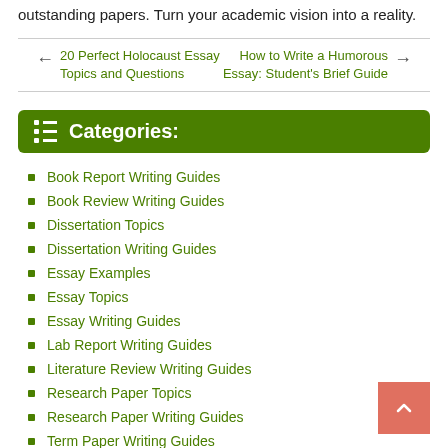outstanding papers. Turn your academic vision into a reality.
20 Perfect Holocaust Essay Topics and Questions
How to Write a Humorous Essay: Student's Brief Guide
Categories:
Book Report Writing Guides
Book Review Writing Guides
Dissertation Topics
Dissertation Writing Guides
Essay Examples
Essay Topics
Essay Writing Guides
Lab Report Writing Guides
Literature Review Writing Guides
Research Paper Topics
Research Paper Writing Guides
Term Paper Writing Guides